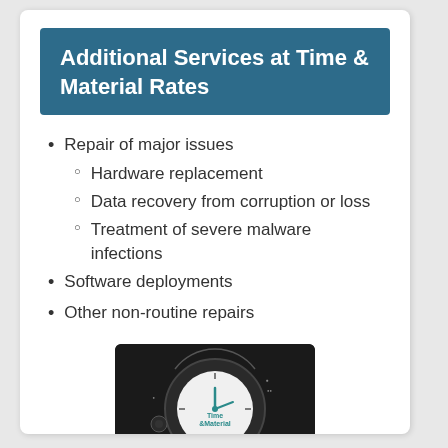Additional Services at Time & Material Rates
Repair of major issues
Hardware replacement
Data recovery from corruption or loss
Treatment of severe malware infections
Software deployments
Other non-routine repairs
[Figure (illustration): Dark circular clock/timer graphic with teal clock hands and text reading 'Time & Material' in the center, surrounded by icons on a dark background]